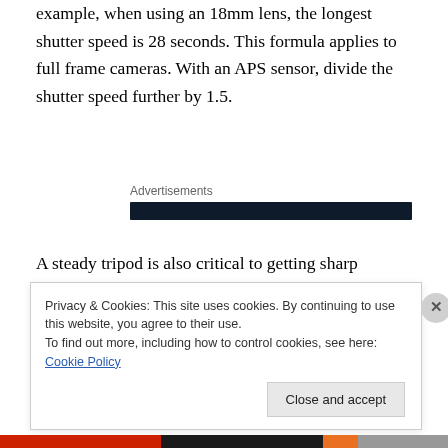example, when using an 18mm lens, the longest shutter speed is 28 seconds. This formula applies to full frame cameras. With an APS sensor, divide the shutter speed further by 1.5.
Advertisements
A steady tripod is also critical to getting sharp photos. For focusing, set the camera to live view, manual focus and zoom the display to a bright star or planet. It's best to
Privacy & Cookies: This site uses cookies. By continuing to use this website, you agree to their use.
To find out more, including how to control cookies, see here: Cookie Policy